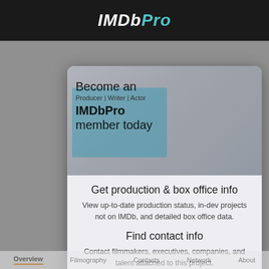IMDbPro
[Figure (screenshot): IMDbPro modal overlay on a webpage background showing 'Become an IMDbPro member today' banner with film clapperboard image and blue-teal overlay, with navigation tabs (Overview, Filmography, Contacts, Network, About) visible behind the modal]
Get production & box office info
View up-to-date production status, in-dev projects not on IMDb, and detailed box office data.
Find contact info
Contact filmmakers, executives, companies, and talent attached to this project.
Never miss an industry update
Stay on top of the latest developments for this project with personalized notifications.